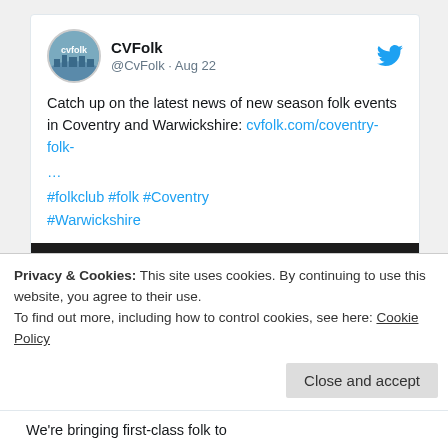[Figure (screenshot): Tweet card from CVFolk (@CvFolk, Aug 22) with Twitter bird icon, avatar circle with 'cvfolk' text and city skyline image. Tweet text: 'Catch up on the latest news of new season folk events in Coventry and Warwickshire: cvfolk.com/coventry-folk-… #folkclub #folk #Coventry #Warwickshire'. Below the text is a photo of four musicians holding instruments against a dark background.]
Privacy & Cookies: This site uses cookies. By continuing to use this website, you agree to their use.
To find out more, including how to control cookies, see here: Cookie Policy
Close and accept
We're bringing first-class folk to